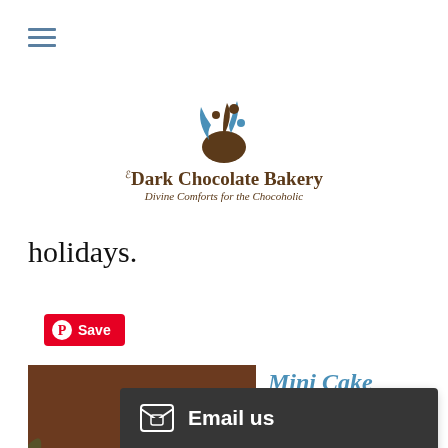[Figure (logo): The Dark Chocolate Bakery logo with decorative splash graphic above text. Tagline: Divine Comforts for the Chocoholic]
holidays.
[Figure (other): Pinterest Save button (red with P icon)]
[Figure (photo): Photo of assorted mini cakes on a tiered silver cake stand]
Mini Cake Assortment
$68.95
A little something for everyone. This month's mini cake assortment includes our c
[Figure (other): Shopping cart / bag icon button]
[Figure (other): Email us chat bar at bottom of screen]